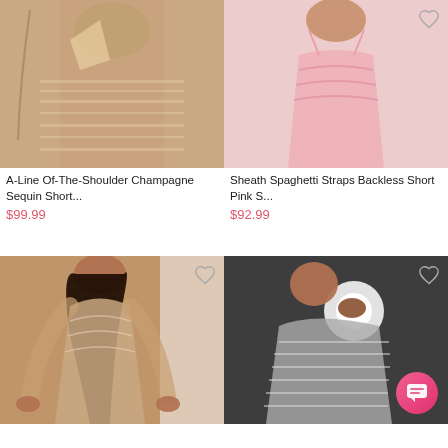[Figure (photo): A-Line champagne sequin short dress laid on white background]
[Figure (photo): Sheath spaghetti straps backless short pink dress worn by model]
A-Line Of-The-Shoulder Champagne Sequin Short...
$99.99
Sheath Spaghetti Straps Backless Short Pink S...
$92.99
[Figure (photo): Model wearing long-sleeve lace champagne dress with deep v-neck]
[Figure (photo): Model in mirror selfie wearing silver sequin dress, with chat button overlay]